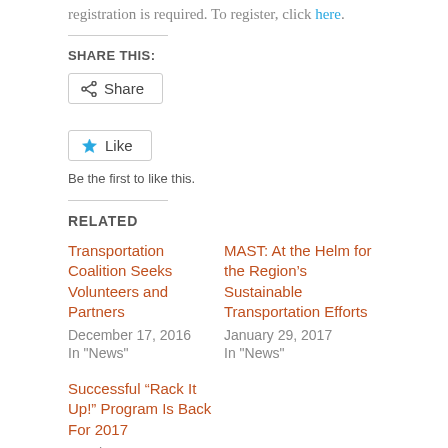registration is required. To register, click here.
SHARE THIS:
[Figure (other): Share button with share icon]
[Figure (other): Like button with star icon]
Be the first to like this.
RELATED
Transportation Coalition Seeks Volunteers and Partners
December 17, 2016
In "News"
MAST: At the Helm for the Region's Sustainable Transportation Efforts
January 29, 2017
In "News"
Successful “Rack It Up!” Program Is Back For 2017
March 5, 2017
In "News"